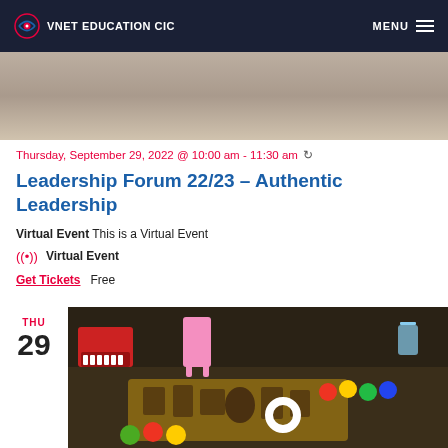VNET EDUCATION CIC | MENU
[Figure (photo): Partial photo of person writing at desk, blurred background]
Thursday, September 29, 2022 @ 10:00 am - 11:30 am
Leadership Forum 22/23 – Authentic Leadership
Virtual Event This is a Virtual Event
((•)) Virtual Event
Get Tickets  Free
THU 29
[Figure (photo): Classroom toys: red toy piano, wooden alphabet letters, colorful play-doh containers on a table]